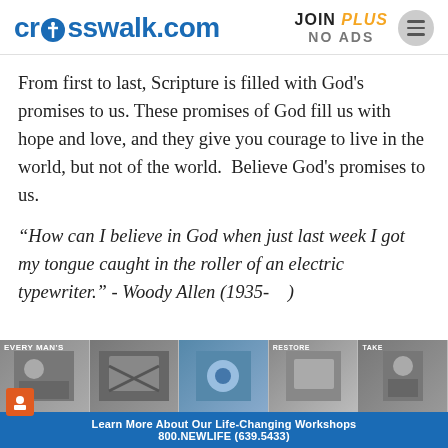crosswalk.com   JOIN PLUS NO ADS
From first to last, Scripture is filled with God's promises to us. These promises of God fill us with hope and love, and they give you courage to live in the world, but not of the world.  Believe God's promises to us.
“How can I believe in God when just last week I got my tongue caught in the roller of an electric typewriter.” - Woody Allen (1935-    )
[Figure (screenshot): Advertisement banner at the bottom of the page showing multiple book/workshop images and text: Learn More About Our Life-Changing Workshops 800.NEWLIFE (639.5433)]